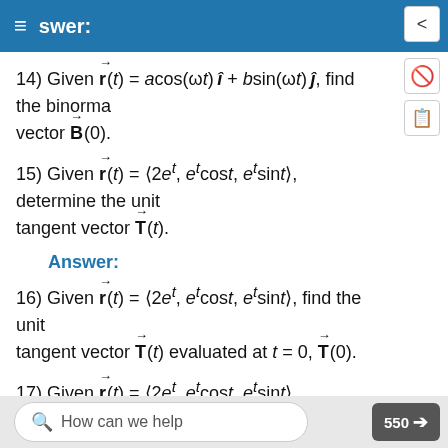≡ swer:
14) Given r(t) = acos(ωt) î + bsin(ωt) ĵ, find the binormal vector B(0).
15) Given r(t) = ⟨2e^t, e^t cost, e^t sint⟩, determine the unit tangent vector T(t).
Answer:
16) Given r(t) = ⟨2e^t, e^t cost, e^t sint⟩, find the unit tangent vector T(t) evaluated at t = 0, T(0).
17) Given r(t) = ⟨2e^t, e^t cost, e^t sint⟩, determine the unit
How can we help   550